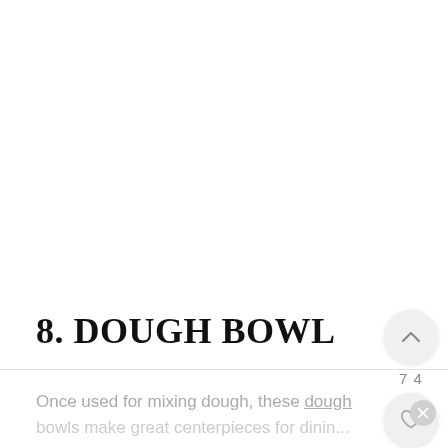8. DOUGH BOWL
Once used for mixing dough, these dough bowls make great centerpieces for dining...